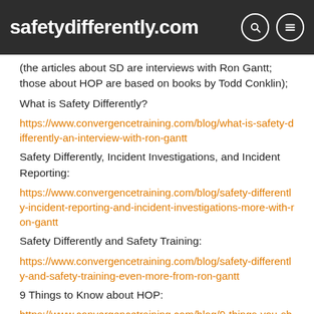safetydifferently.com
(the articles about SD are interviews with Ron Gantt; those about HOP are based on books by Todd Conklin);
What is Safety Differently?
https://www.convergencetraining.com/blog/what-is-safety-differently-an-interview-with-ron-gantt
Safety Differently, Incident Investigations, and Incident Reporting:
https://www.convergencetraining.com/blog/safety-differently-incident-reporting-and-incident-investigations-more-with-ron-gantt
Safety Differently and Safety Training:
https://www.convergencetraining.com/blog/safety-differently-and-safety-training-even-more-from-ron-gantt
9 Things to Know about HOP:
https://www.convergencetraining.com/blog/9-things-you-should-know-about-human-organizational-performance-hop
Preventing Workplace Fatalities: